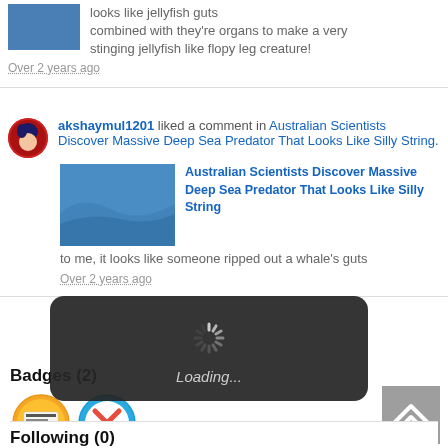[Figure (screenshot): Blue image thumbnail at top left]
looks like jellyfish guts combined with they're organs to make a very stinging jellyfish like flopy leg creature!
Over 2 years ago
akshaymul1201 liked a comment in Australian Scientists Discover Massive Deep Sea Predator That Looks Like Silly String.
[Figure (screenshot): Blue ocean article thumbnail]
Australian Scientists Discover Massive Deep Sea Predator That Looks Like Silly String
to me, it looks like someone ripped out a whale's guts
Over 2 years ago
[Figure (screenshot): Loading spinner overlay with dark rounded background showing Loading... text]
Badges (2)
[Figure (illustration): News badge icon - newspaper icon with pink/orange background]
[Figure (illustration): Cancel/X badge icon - red X with blue circle]
Following (0)